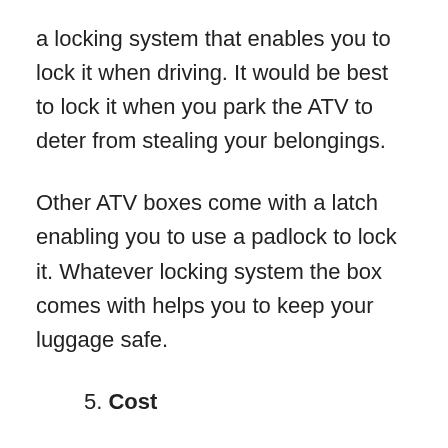a locking system that enables you to lock it when driving. It would be best to lock it when you park the ATV to deter from stealing your belongings.
Other ATV boxes come with a latch enabling you to use a padlock to lock it. Whatever locking system the box comes with helps you to keep your luggage safe.
5. Cost
It would help if you considered the cost of any ATV box before you buy it. A box with a high price does not always guarantee quality. Also, one with a